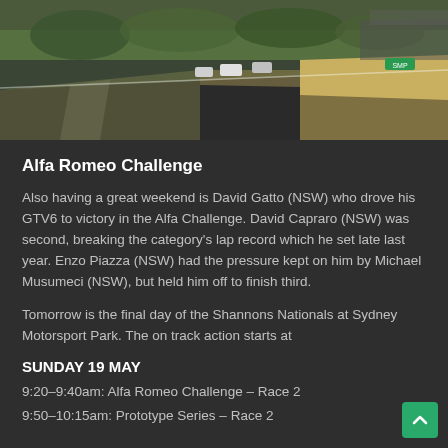[Figure (photo): Racing cars on a motorsport track, aerial/distant view showing cars on asphalt with grass and track surroundings]
Alfa Romeo Challenge
Also having a great weekend is David Gatto (NSW) who drove his GTV6 to victory in the Alfa Challenge. David Capraro (NSW) was second, breaking the category's lap record which he set late last year. Enzo Piazza (NSW) had the pressure kept on him by Michael Musumeci (NSW), but held him off to finish third.
Tomorrow is the final day of the Shannons Nationals at Sydney Motorsport Park. The on track action starts at
SUNDAY 19 MAY
9:20–9:40am: Alfa Romeo Challenge – Race 2
9:50–10:15am: Prototype Series – Race 2